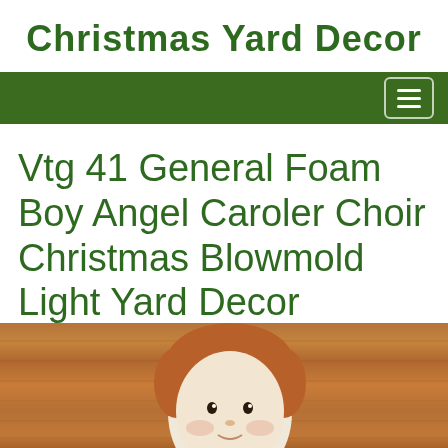Christmas Yard Decor
Vtg 41 General Foam Boy Angel Caroler Choir Christmas Blowmold Light Yard Decor
[Figure (photo): Bottom portion of a vintage General Foam Boy Angel Caroler figure, showing the face/head area against a wood-grain background. The figure appears to be a cream/white blowmold Christmas decoration.]